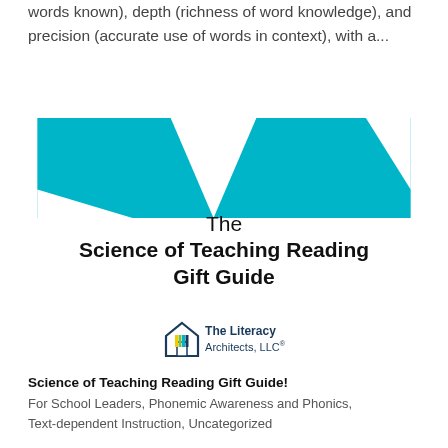words known), depth (richness of word knowledge), and precision (accurate use of words in context), with a...
[Figure (illustration): Teal/turquoise decorative banner shape forming the top of a book cover, with white triangular cutouts creating a crown-like pattern. Below it: 'The Science of Teaching Reading Gift Guide' title text, and The Literacy Architects LLC logo.]
Science of Teaching Reading Gift Guide!
For School Leaders, Phonemic Awareness and Phonics, Text-dependent Instruction, Uncategorized